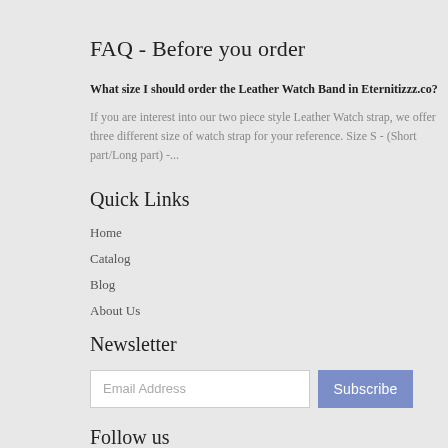FAQ - Before you order
What size I should order the Leather Watch Band in Eternitizzz.co?
If you are interest into our two piece style Leather Watch strap, we offer three different size of watch strap for your reference. Size S - (Short part/Long part) -...
Quick Links
Home
Catalog
Blog
About Us
Newsletter
Email Address  Subscribe
Follow us
[Figure (illustration): Social media icons for Facebook, Pinterest, and Instagram]